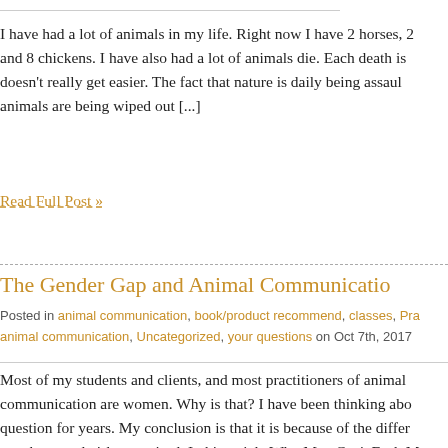I have had a lot of animals in my life. Right now I have 2 horses, 2 and 8 chickens. I have also had a lot of animals die. Each death is doesn't really get easier. The fact that nature is daily being assaul animals are being wiped out [...]
Read Full Post »
The Gender Gap and Animal Communicatio
Posted in animal communication, book/product recommend, classes, Pra animal communication, Uncategorized, your questions on Oct 7th, 2017
Most of my students and clients, and most practitioners of animal communication are women. Why is that? I have been thinking abo question for years. My conclusion is that it is because of the differ way boys and girls are raised. In his article Why Men Can't Feel, M